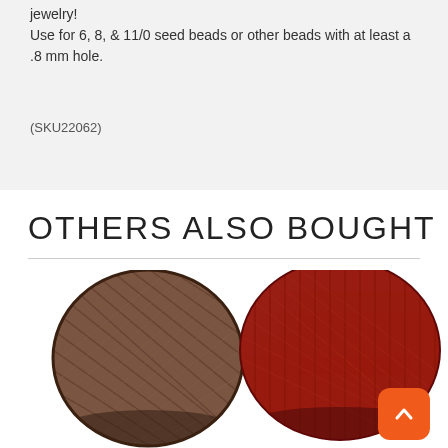jewelry!
Use for 6, 8, & 11/0 seed beads or other beads with at least a .8 mm hole.
(SKU22062)
OTHERS ALSO BOUGHT
[Figure (photo): Two spools of thread: a brown/dark thread spool on the left, and a red/dark red thread spool on the right]